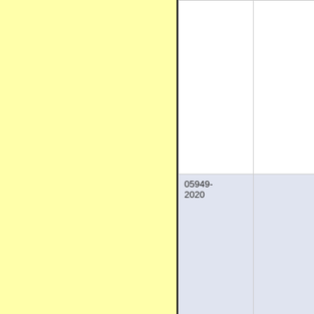[Figure (other): Yellow panel occupying the left approximately 56% of the page with a black right border]
| Code | Value |
| --- | --- |
|  |  |
| 05949-2020 |  |
| 05947-2020 |  |
| 05943-2020 |  |